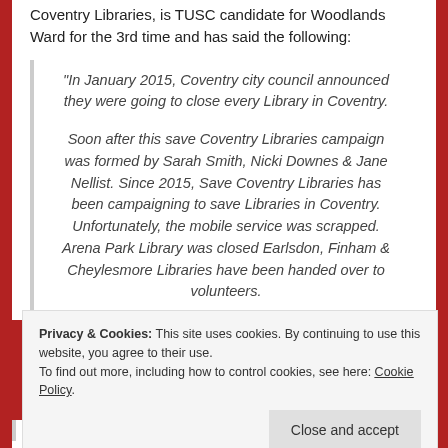Coventry Libraries, is TUSC candidate for Woodlands Ward for the 3rd time and has said the following:
“In January 2015, Coventry city council announced they were going to close every Library in Coventry.

Soon after this save Coventry Libraries campaign was formed by Sarah Smith, Nicki Downes & Jane Nellist. Since 2015, Save Coventry Libraries has been campaigning to save Libraries in Coventry. Unfortunately, the mobile service was scrapped. Arena Park Library was closed Earlsdon, Finham & Cheylesmore Libraries have been handed over to volunteers.
Privacy & Cookies: This site uses cookies. By continuing to use this website, you agree to their use.
To find out more, including how to control cookies, see here: Cookie Policy
research into the impact of sustainability of Libraries run